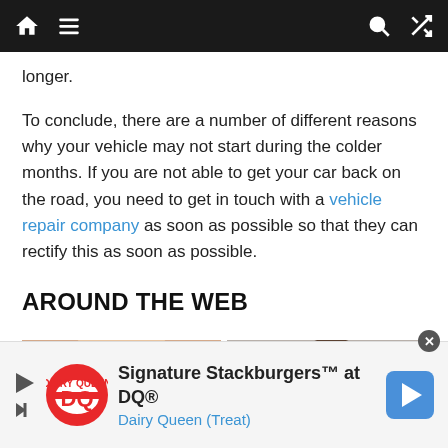[Navigation bar with home, menu, search, and shuffle icons]
longer.
To conclude, there are a number of different reasons why your vehicle may not start during the colder months. If you are not able to get your car back on the road, you need to get in touch with a vehicle repair company as soon as possible so that they can rectify this as soon as possible.
AROUND THE WEB
[Figure (photo): Photo of a person's midsection wearing purple/maroon pants, hands visible]
[Figure (photo): Photo of a young man with a thoughtful/concerned expression, resting hand near face]
[Figure (advertisement): Dairy Queen ad: Signature Stackburgers at DQ® with DQ logo and navigation arrow icon]